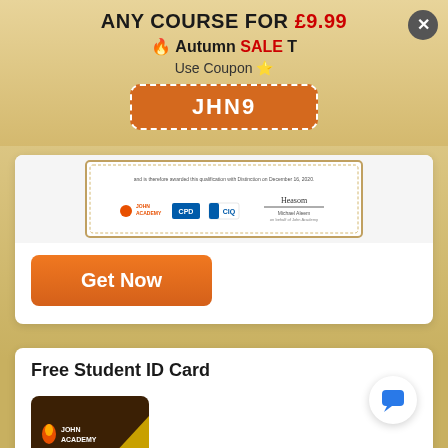ANY COURSE FOR £9.99
🔥 Autumn SALE T
Use Coupon ⭐
JHN9
[Figure (other): Certificate image showing John Academy, CPD, CIQ logos and a signature]
Get Now
Free Student ID Card
[Figure (other): John Academy student ID card thumbnail with flame logo on dark brown background with gold accent]
[Figure (other): Chat bubble icon button (blue speech bubble on white circle)]